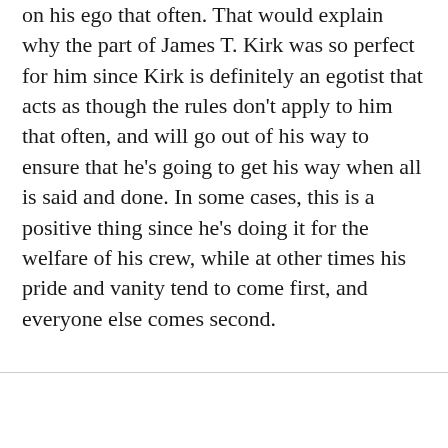Shatner isn't the kind of guy that likes to put a hit on his ego that often. That would explain why the part of James T. Kirk was so perfect for him since Kirk is definitely an egotist that acts as though the rules don't apply to him that often, and will go out of his way to ensure that he's going to get his way when all is said and done. In some cases, this is a positive thing since he's doing it for the welfare of his crew, while at other times his pride and vanity tend to come first, and everyone else comes second.